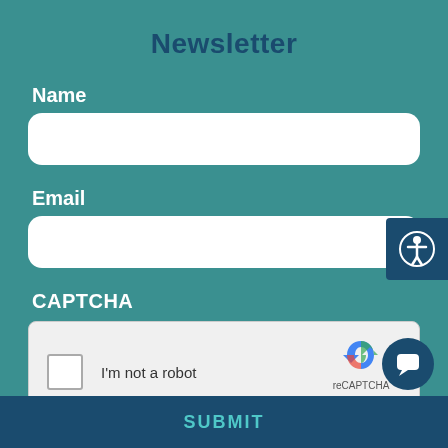Newsletter
Name
[Figure (other): Text input field for Name]
Email
[Figure (other): Text input field for Email]
CAPTCHA
[Figure (other): reCAPTCHA widget with checkbox 'I'm not a robot', reCAPTCHA logo, Privacy - Terms links]
[Figure (other): Accessibility icon button on right edge]
[Figure (other): Chat bubble button in bottom right corner]
SUBMIT